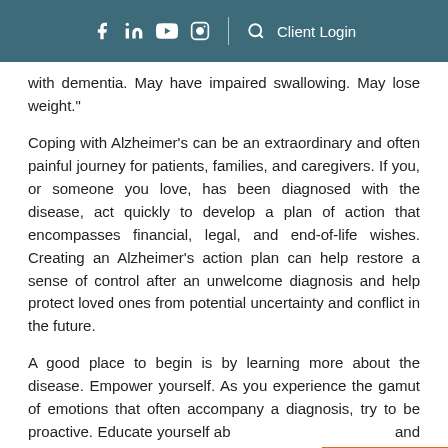f in ▶ ☆ | 🔍 Client Login
with dementia. May have impaired swallowing. May lose weight."
Coping with Alzheimer's can be an extraordinary and often painful journey for patients, families, and caregivers. If you, or someone you love, has been diagnosed with the disease, act quickly to develop a plan of action that encompasses financial, legal, and end-of-life wishes. Creating an Alzheimer's action plan can help restore a sense of control after an unwelcome diagnosis and help protect loved ones from potential uncertainty and conflict in the future.
A good place to begin is by learning more about the disease. Empower yourself. As you experience the gamut of emotions that often accompany a diagnosis, try to be proactive. Educate yourself ab... and Alzheimer's. Join a support group. Keep a journal. Share information with loved ones. Understanding what